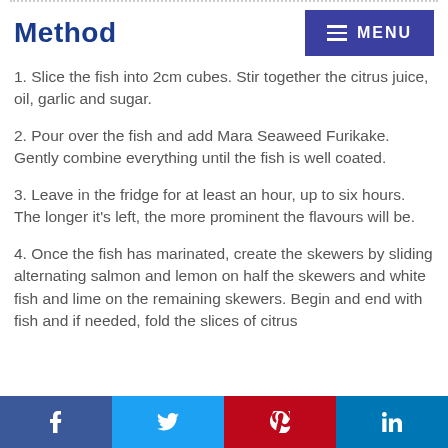Method
1. Slice the fish into 2cm cubes. Stir together the citrus juice, oil, garlic and sugar.
2. Pour over the fish and add Mara Seaweed Furikake. Gently combine everything until the fish is well coated.
3. Leave in the fridge for at least an hour, up to six hours. The longer it's left, the more prominent the flavours will be.
4. Once the fish has marinated, create the skewers by sliding alternating salmon and lemon on half the skewers and white fish and lime on the remaining skewers. Begin and end with fish and if needed, fold the slices of citrus
f  Twitter  Pinterest  in